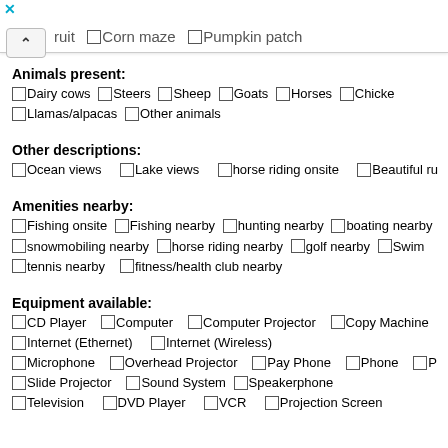uit  Corn maze  Pumpkin patch
Animals present:
Dairy cows  Steers  Sheep  Goats  Horses  Chickens  Llamas/alpacas  Other animals
Other descriptions:
Ocean views  Lake views  horse riding onsite  Beautiful ru...
Amenities nearby:
Fishing onsite  Fishing nearby  hunting nearby  boating nearby  snowmobiling nearby  horse riding nearby  golf nearby  Swimming  tennis nearby  fitness/health club nearby
Equipment available:
CD Player  Computer  Computer Projector  Copy Machine  Internet (Ethernet)  Internet (Wireless)  Microphone  Overhead Projector  Pay Phone  Phone  P...  Slide Projector  Sound System  Speakerphone  Television  DVD Player  VCR  Projection Screen